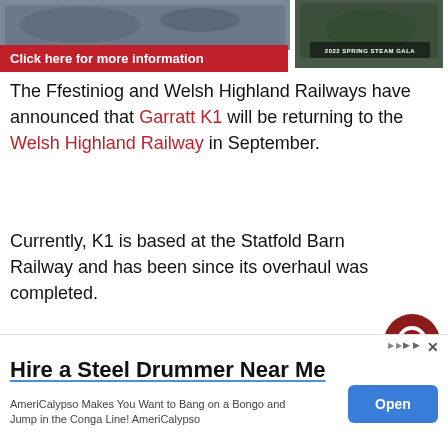[Figure (photo): Banner image with railway/steam locomotive photos. Red bar reads 'Click here for more information'. Right side shows '2022 Spring Steam Gala' label over a photo.]
The Ffestiniog and Welsh Highland Railways have announced that Garratt K1 will be returning to the Welsh Highland Railway in September.
Currently, K1 is based at the Statfold Barn Railway and has been since its overhaul was completed.
The announcement comes as the railway prepares to open booking for trains for September, with tickets going on sale on the
[Figure (other): Advertisement: Hire a Steel Drummer Near Me. AmeriCalypso Makes You Want to Bang on a Bongo and Jump in the Conga Line! AmeriCalypso. Open button.]